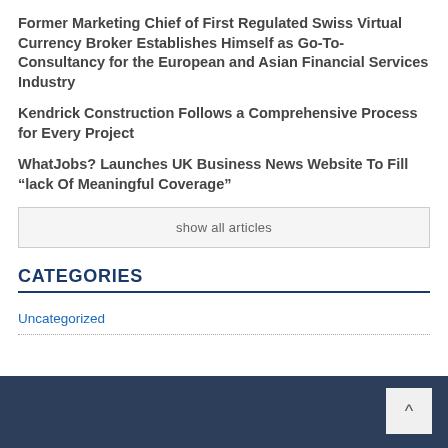Former Marketing Chief of First Regulated Swiss Virtual Currency Broker Establishes Himself as Go-To-Consultancy for the European and Asian Financial Services Industry
Kendrick Construction Follows a Comprehensive Process for Every Project
WhatJobs? Launches UK Business News Website To Fill “lack Of Meaningful Coverage”
show all articles
CATEGORIES
Uncategorized